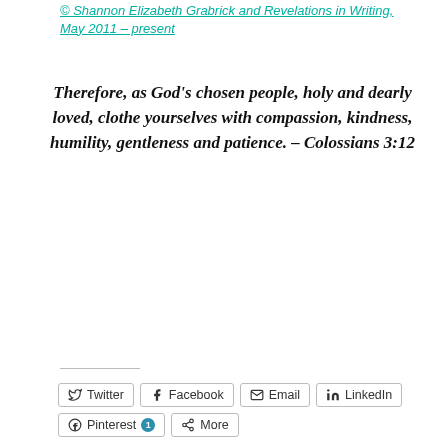© Shannon Elizabeth Grabrick and Revelations in Writing, May 2011 – present
Therefore, as God's chosen people, holy and dearly loved, clothe yourselves with compassion, kindness, humility, gentleness and patience. – Colossians 3:12
[Figure (screenshot): Social share buttons: Twitter, Facebook, Email, LinkedIn, Pinterest (1), More]
[Figure (screenshot): Like button with star icon, and two blogger avatar thumbnails]
2 bloggers like this.
This entry was posted in Blessing, Comfort, Community, Faith, Forgiveness, Gentleness, Grace, Gratitude, Kindness